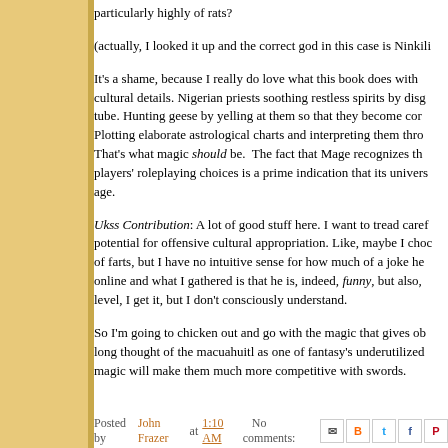particularly highly of rats?
(actually, I looked it up and the correct god in this case is Ninkili
It's a shame, because I really do love what this book does with cultural details. Nigerian priests soothing restless spirits by disg tube. Hunting geese by yelling at them so that they become cor Plotting elaborate astrological charts and interpreting them thro That's what magic should be. The fact that Mage recognizes th players' roleplaying choices is a prime indication that its univers age.
Ukss Contribution: A lot of good stuff here. I want to tread carefu potential for offensive cultural appropriation. Like, maybe I choc of farts, but I have no intuitive sense for how much of a joke he online and what I gathered is that he is, indeed, funny, but also, level, I get it, but I don't consciously understand.
So I'm going to chicken out and go with the magic that gives ob long thought of the macuahuitl as one of fantasy's underutilized magic will make them much more competitive with swords.
Posted by John Frazer at 1:10 AM   No comments: